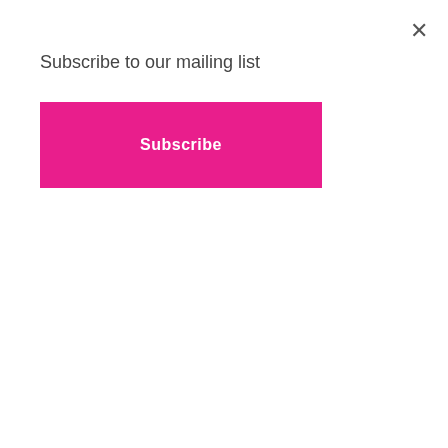Subscribe to our mailing list
Subscribe
[Figure (photo): Photograph of a handmade greeting card with yellow and blue flowers on a light blue background, framed with dark blue card stock, resting on a kraft paper surface. Watermark reads: © CYNDIE WHITLOW / WWW.THEPINKENVELOPE BLOG.BLOGSPOT.COM]
I've been Copic coloring for awhile. I promise I've put in tons of time practicing and learning. I mean tons o' time. I'm still learning. However, I gotta be honest. I'm at a point where I don't make a point of seeking out a specific class or technique unless I'm bored, but I wasn't born with a Copic in my hand so I have to go someplace.
If you're interested in see how I made these you can